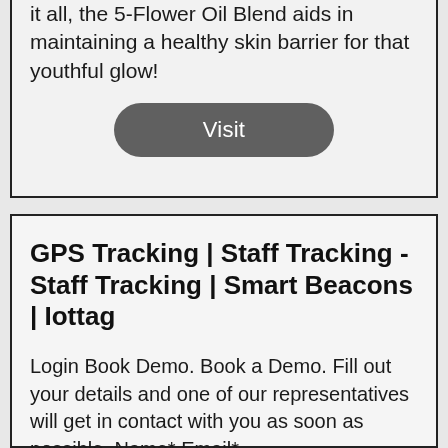it all, the 5-Flower Oil Blend aids in maintaining a healthy skin barrier for that youthful glow!
Visit
GPS Tracking | Staff Tracking - Staff Tracking | Smart Beacons | Iottag
Login Book Demo. Book a Demo. Fill out your details and one of our representatives will get in contact with you as soon as possible. Name* Email*